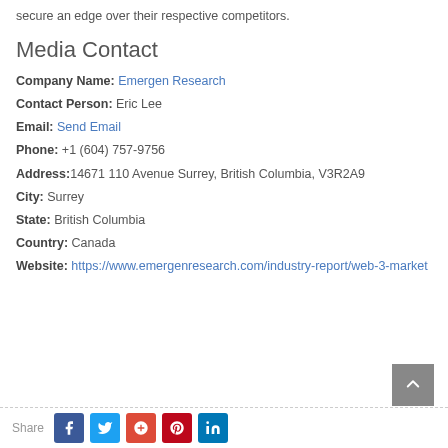secure an edge over their respective competitors.
Media Contact
Company Name: Emergen Research
Contact Person: Eric Lee
Email: Send Email
Phone: +1 (604) 757-9756
Address: 14671 110 Avenue Surrey, British Columbia, V3R2A9
City: Surrey
State: British Columbia
Country: Canada
Website: https://www.emergenresearch.com/industry-report/web-3-market
Share